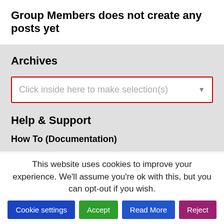Group Members does not create any posts yet
Archives
[Figure (screenshot): Dropdown selector box with red border and placeholder text 'Click inside here to make selection(s)' with a down arrow]
Help & Support
How To (Documentation)
This website uses cookies to improve your experience. We'll assume you're ok with this, but you can opt-out if you wish.
Cookie settings | Accept | Read More | Reject